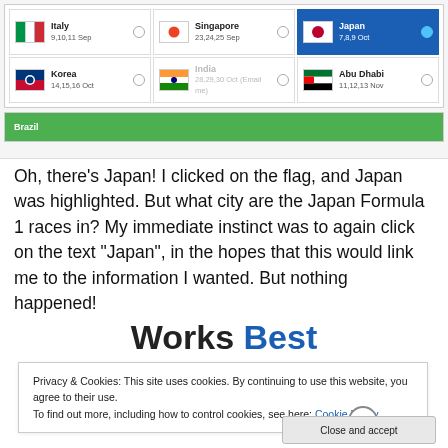[Figure (screenshot): Screenshot of a Formula 1 race schedule selector showing country flags and dates. Countries shown: Italy (9,10,11 Sep), Singapore (23,24,25 Sep), Japan (7,8,9 Oct - highlighted in blue), Korea (14,15,16 Oct), India (28,29,30 Oct - dimmed), Abu Dhabi (11,12,13 Nov), Brazil (partially visible at bottom)]
Oh, there's Japan! I clicked on the flag, and Japan was highlighted. But what city are the Japan Formula 1 races in? My immediate instinct was to again click on the text “Japan”, in the hopes that this would link me to the information I wanted.  But nothing happened!
Works Best
Privacy & Cookies: This site uses cookies. By continuing to use this website, you agree to their use.
To find out more, including how to control cookies, see here: Cookie Policy